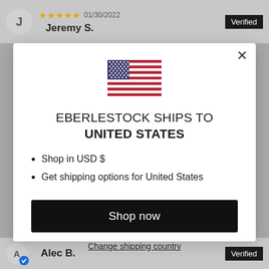[Figure (screenshot): Background showing a review page with reviewer Jeremy S. at top and Alec B. at bottom, dimmed behind a modal dialog]
[Figure (illustration): US flag SVG icon centered in modal]
EBERLESTOCK SHIPS TO UNITED STATES
Shop in USD $
Get shipping options for United States
Shop now
Change shipping country